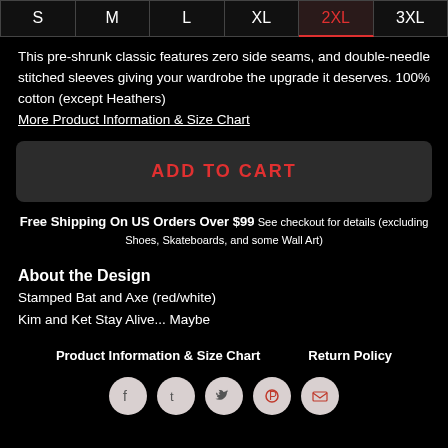[Figure (other): Size selector buttons: S, M, L, XL, 2XL (selected/highlighted in red), 3XL]
This pre-shrunk classic features zero side seams, and double-needle stitched sleeves giving your wardrobe the upgrade it deserves. 100% cotton (except Heathers)
More Product Information & Size Chart
ADD TO CART
Free Shipping On US Orders Over $99 See checkout for details (excluding Shoes, Skateboards, and some Wall Art)
About the Design
Stamped Bat and Axe (red/white)
Kim and Ket Stay Alive... Maybe
Product Information & Size Chart     Return Policy
[Figure (other): Social media share icons: Facebook, Tumblr, Twitter, Pinterest, Email — circular light grey buttons]